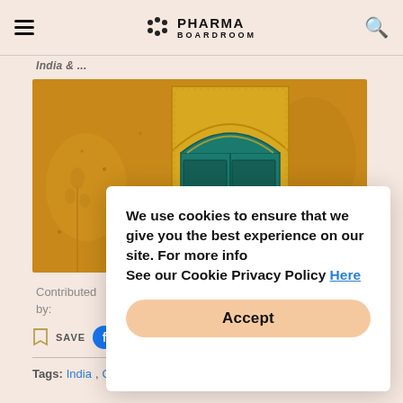PHARMA BOARDROOM
Contributed by:
[Figure (photo): Yellow wall with ornate teal/green arched door or window in Indian architectural style]
Contributed by:
Tags: India, Opinion
We use cookies to ensure that we give you the best experience on our site. For more info See our Cookie Privacy Policy Here
Accept